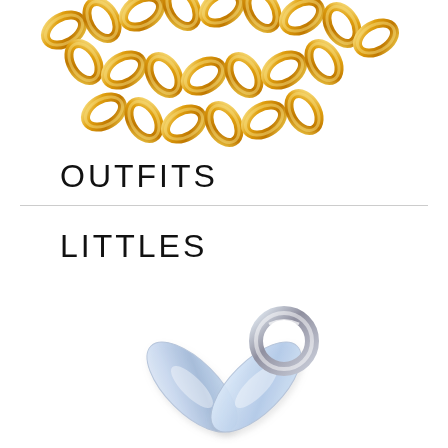[Figure (photo): Gold curb chain necklace, close-up, shown at top of page on white background]
OUTFITS
[Figure (photo): Crystal/silver pacifier charm, small decorative baby pacifier with crystals, on white background]
LITTLES